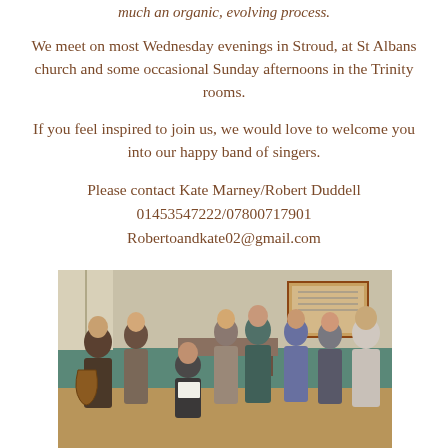much an organic, evolving process.
We meet on most Wednesday evenings in Stroud, at St Albans church and some occasional Sunday afternoons in the Trinity rooms.
If you feel inspired to join us, we would love to welcome you into our happy band of singers.
Please contact Kate Marney/Robert Duddell
01453547222/07800717901
Robertoandkate02@gmail.com
[Figure (photo): Group of people singing together in a hall, arranged in a circle, some holding papers, with a notice board visible in the background.]